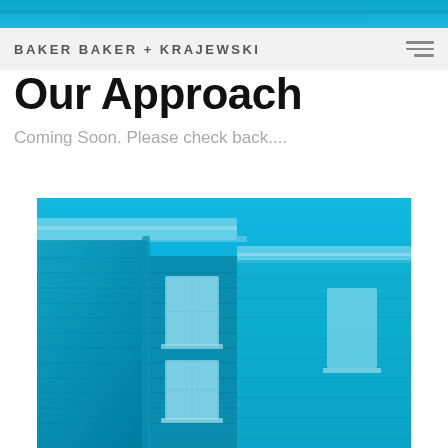[Figure (photo): Blue-tinted aerial/top portion of a building photo used as a banner at the top of the page]
BAKER BAKER + KRAJEWSKI
Our Approach
Coming Soon. Please check back....
[Figure (photo): Blue-tinted photograph of the corner of a brick residential building showing roof gutters, windows, and brick facade viewed from below]